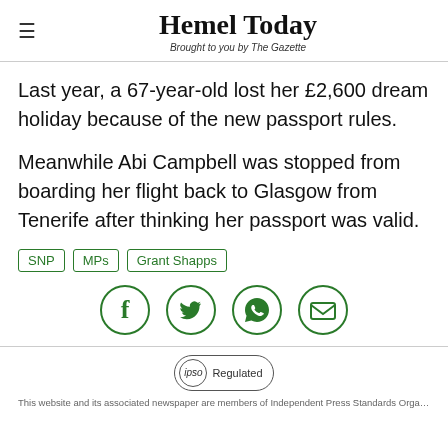Hemel Today — Brought to you by The Gazette
Last year, a 67-year-old lost her £2,600 dream holiday because of the new passport rules.
Meanwhile Abi Campbell was stopped from boarding her flight back to Glasgow from Tenerife after thinking her passport was valid.
SNP
MPs
Grant Shapps
[Figure (infographic): Social sharing icons: Facebook, Twitter, WhatsApp, Email — all in green circles with outlines]
IPSO Regulated